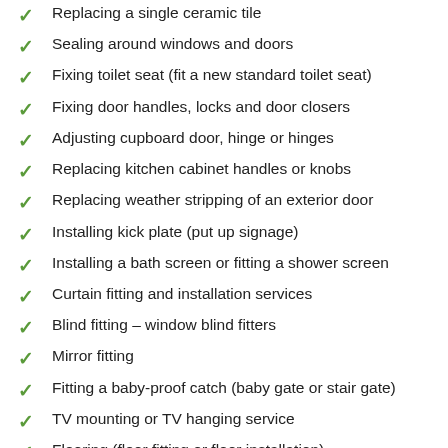Replacing a single ceramic tile
Sealing around windows and doors
Fixing toilet seat (fit a new standard toilet seat)
Fixing door handles, locks and door closers
Adjusting cupboard door, hinge or hinges
Replacing kitchen cabinet handles or knobs
Replacing weather stripping of an exterior door
Installing kick plate (put up signage)
Installing a bath screen or fitting a shower screen
Curtain fitting and installation services
Blind fitting – window blind fitters
Mirror fitting
Fitting a baby-proof catch (baby gate or stair gate)
TV mounting or TV hanging service
Flooring (floor fitting or floor installation)
Electrical services
Renovating services
Plumbing services
Professional Plumbing Carpentry Painting & Other Handyman Services
From cable tidying to painting our handyman does it all. Our technicians are high-trained, certified and insured. Working with